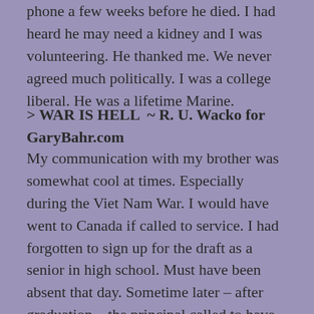phone a few weeks before he died. I had heard he may need a kidney and I was volunteering. He thanked me. We never agreed much politically. I was a college liberal. He was a lifetime Marine.
> WAR IS HELL  ~ R. U. Wacko for GaryBahr.com
My communication with my brother was somewhat cool at times. Especially during the Viet Nam War. I would have went to Canada if called to service. I had forgotten to sign up for the draft as a senior in high school. Must have been absent that day. Sometime later – after graduation – the principal called to have me sign up. He hoped my late sign-up would not get me drafted.